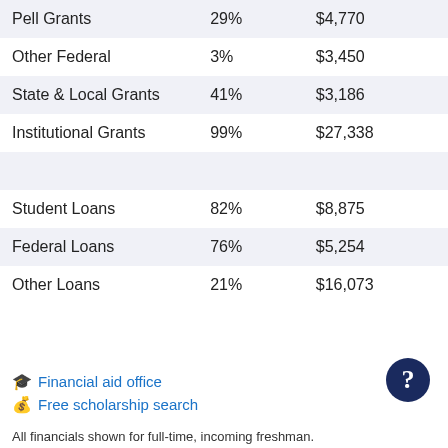| Pell Grants | 29% | $4,770 |
| Other Federal | 3% | $3,450 |
| State & Local Grants | 41% | $3,186 |
| Institutional Grants | 99% | $27,338 |
|  |  |  |
| Student Loans | 82% | $8,875 |
| Federal Loans | 76% | $5,254 |
| Other Loans | 21% | $16,073 |
Financial aid office
Free scholarship search
All financials shown for full-time, incoming freshman.